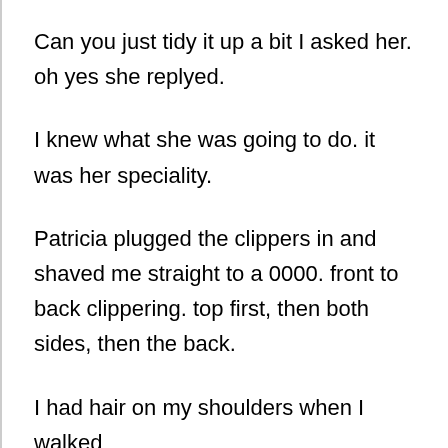Can you just tidy it up a bit I asked her. oh yes she replyed.
I knew what she was going to do. it was her speciality.
Patricia plugged the clippers in and shaved me straight to a 0000. front to back clippering. top first, then both sides, then the back.
I had hair on my shoulders when I walked